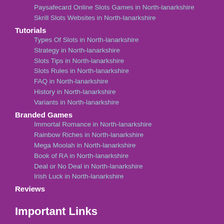Paysafecard Online Slots Games in North-lanarkshire
Skrill Slots Websites in North-lanarkshire
Tutorials
Types Of Slots in North-lanarkshire
Strategy in North-lanarkshire
Slots Tips in North-lanarkshire
Slots Rules in North-lanarkshire
FAQ in North-lanarkshire
History in North-lanarkshire
Variants in North-lanarkshire
Branded Games
Immortal Romance in North-lanarkshire
Rainbow Riches in North-lanarkshire
Mega Moolah in North-lanarkshire
Book of RA in North-lanarkshire
Deal or No Deal in North-lanarkshire
Irish Luck in North-lanarkshire
Reviews
Important Links
Privacy Policy
Terms & Conditions